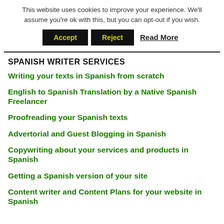This website uses cookies to improve your experience. We'll assume you're ok with this, but you can opt-out if you wish.
Accept | Reject | Read More
SPANISH WRITER SERVICES
Writing your texts in Spanish from scratch
English to Spanish Translation by a Native Spanish Freelancer
Proofreading your Spanish texts
Advertorial and Guest Blogging in Spanish
Copywriting about your services and products in Spanish
Getting a Spanish version of your site
Content writer and Content Plans for your website in Spanish